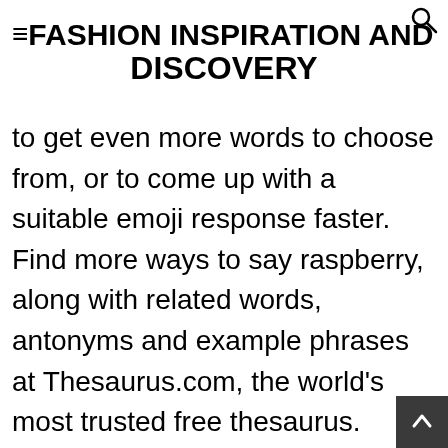FASHION INSPIRATION AND DISCOVERY
to get even more words to choose from, or to come up with a suitable emoji response faster. Find more ways to say raspberry, along with related words, antonyms and example phrases at Thesaurus.com, the world's most trusted free thesaurus. Emoji Meaning. There is no Raspberry emoji, so here is a cherry instead 🍒 Natural flavours, refreshingly sweet and good vibes #truegum your own Pins on Pinterest Another word for raspberry. Complete list of github markdown emoji markup. In the top bar of the Keyboard window, search for Input to